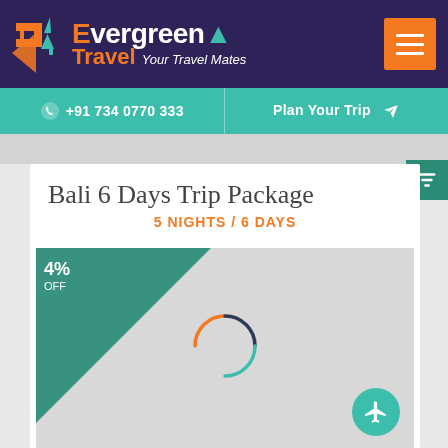[Figure (logo): Evergreen Travel logo with orange E letter, green tree icon, and tagline 'Your Travel Mates' on dark purple background]
[Figure (other): Orange hamburger menu button in top right corner]
+91 734 0770 333
Plan Your Trip
Bali 6 Days Trip Package
5 NIGHTS / 6 DAYS
[Figure (photo): Travel package image area with 4% OFF discount badge in teal triangle corner and a loading spinner in the center]
[Figure (other): Teal circular airplane icon button in bottom right of image]